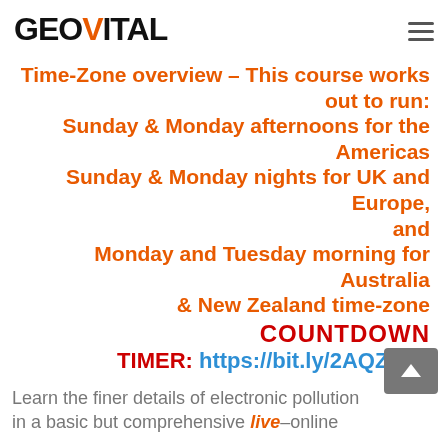GEOVITAL
Time-Zone overview – This course works out to run: Sunday & Monday afternoons for the Americas Sunday & Monday nights for UK and Europe, and Monday and Tuesday morning for Australia & New Zealand time-zone
COUNTDOWN TIMER: https://bit.ly/2AQZ6Q9
Learn the finer details of electronic pollution in a basic but comprehensive live-online